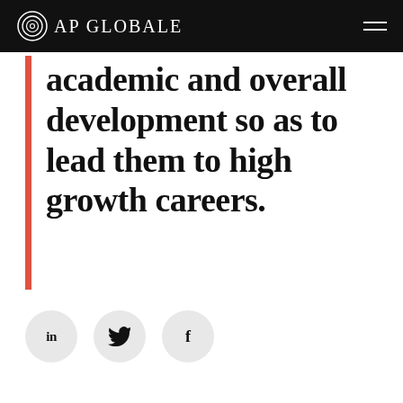AP GLOBALE
academic and overall development so as to lead them to high growth careers.
[Figure (other): Three social media icon buttons: LinkedIn (in), Twitter (bird), Facebook (f), displayed as light grey circles]